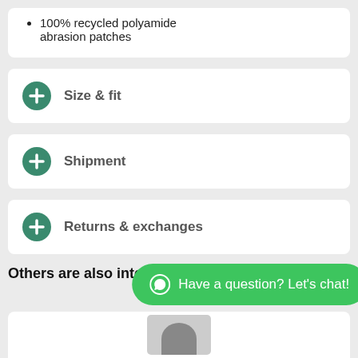100% recycled polyamide abrasion patches
Size & fit
Shipment
Returns & exchanges
Others are also interested in
[Figure (screenshot): Green WhatsApp-style chat button with text: Have a question? Let's chat!]
[Figure (photo): Partially visible product image card at bottom of page]